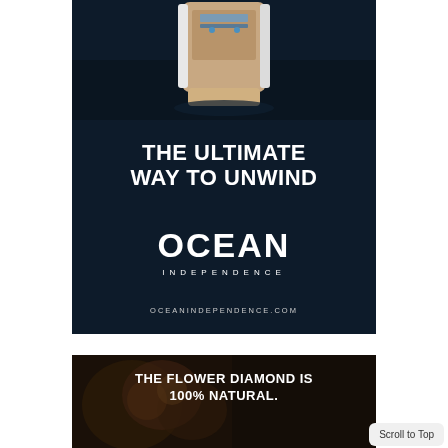[Figure (photo): Advertisement for Ocean Independence. Dark navy background with aerial photo of a yacht at top. Bold white text reads 'THE ULTIMATE WAY TO UNWIND'. Below, large bold logo text 'OCEAN' with 'INDEPENDENCE' in spaced capitals underneath. Website URL 'OCEANINDEPENDENCE.COM' at bottom.]
[Figure (photo): Advertisement with dark background showing flowers/diamonds. Bold white text reads 'THE FLOWER DIAMOND IS 100% NATURAL.' A 'Scroll to Top' button appears in the bottom right corner.]